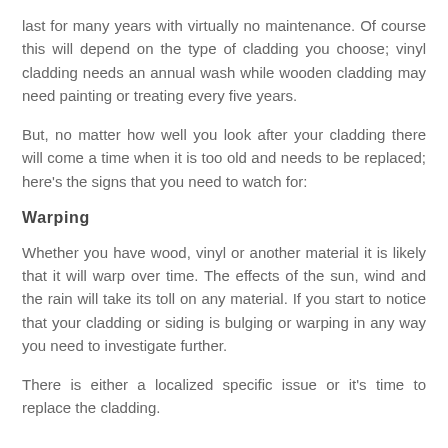last for many years with virtually no maintenance. Of course this will depend on the type of cladding you choose; vinyl cladding needs an annual wash while wooden cladding may need painting or treating every five years.
But, no matter how well you look after your cladding there will come a time when it is too old and needs to be replaced; here’s the signs that you need to watch for:
Warping
Whether you have wood, vinyl or another material it is likely that it will warp over time. The effects of the sun, wind and the rain will take its toll on any material. If you start to notice that your cladding or siding is bulging or warping in any way you need to investigate further.
There is either a localized specific issue or it’s time to replace the cladding.